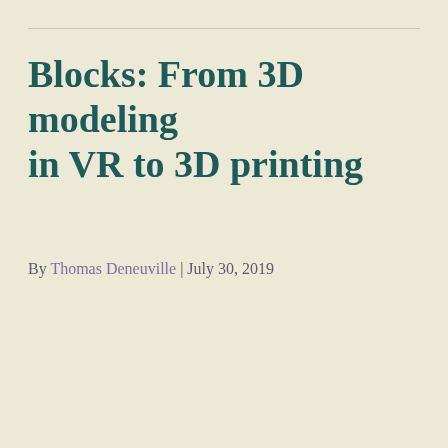Blocks: From 3D modeling in VR to 3D printing
By Thomas Deneuville | July 30, 2019